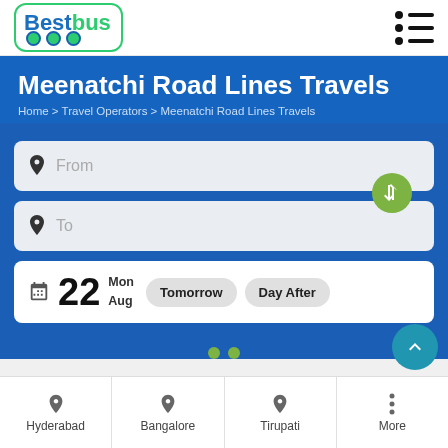BestBus
Meenatchi Road Lines Travels
Home > Travel Operators > Meenatchi Road Lines Travels
[Figure (screenshot): Bus booking search form with From and To fields, date selector showing 22 Mon Aug, Tomorrow and Day After buttons]
Hyderabad  Bangalore  Tirupati  More